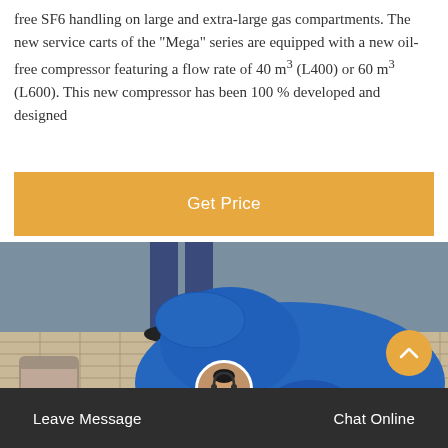free SF6 handling on large and extra-large gas compartments. The new service carts of the "Mega" series are equipped with a new oil-free compressor featuring a flow rate of 40 m³ (L400) or 60 m³ (L600). This new compressor has been 100 % developed and designed
Get Price
[Figure (photo): Worker in blue uniform crouching on a tiled floor, with a bucket nearby. Another person's legs visible in background.]
Leave Message
Chat Online